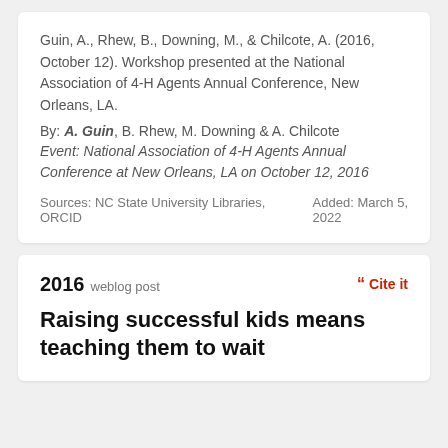Guin, A., Rhew, B., Downing, M., & Chilcote, A. (2016, October 12). Workshop presented at the National Association of 4-H Agents Annual Conference, New Orleans, LA.
By: A. Guin, B. Rhew, M. Downing & A. Chilcote
Event: National Association of 4-H Agents Annual Conference at New Orleans, LA on October 12, 2016
Sources: NC State University Libraries,  ORCID     Added: March 5, 2022
2016 weblog post
Cite it
Raising successful kids means teaching them to wait